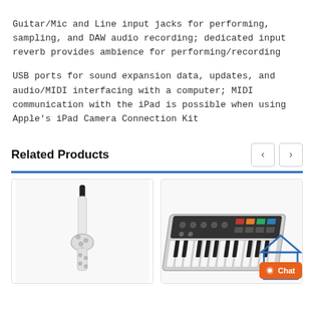Guitar/Mic and Line input jacks for performing, sampling, and DAW audio recording; dedicated input reverb provides ambience for performing/recording
USB ports for sound expansion data, updates, and audio/MIDI interfacing with a computer; MIDI communication with the iPad is possible when using Apple’s iPad Camera Connection Kit
Related Products
[Figure (photo): A white digital wind controller instrument (resembling a saxophone mouthpiece and neck) on a white background.]
[Figure (photo): A silver/white keyboard synthesizer with black keys and dark control panel on top, shown at an angle.]